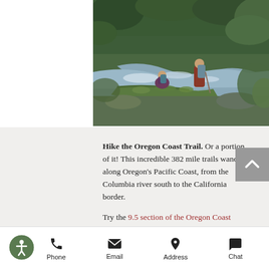[Figure (photo): Two hikers with backpacks near a rushing river surrounded by lush green forest and mossy logs in Oregon]
Hike the Oregon Coast Trail. Or a portion of it! This incredible 382 mile trails wanders along Oregon's Pacific Coast, from the Columbia river south to the California border.
Try the 9.5 section of the Oregon Coast
[Figure (other): Back to top chevron button (gray square with upward arrow)]
[Figure (other): Accessibility icon (circular green icon with person symbol)]
[Figure (other): Bottom navigation bar with Phone, Email, Address, and Chat icons]